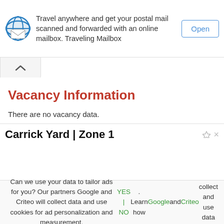[Figure (screenshot): Ad banner for Traveling Mailbox with envelope icon and Open button]
Travel anywhere and get your postal mail scanned and forwarded with an online mailbox. Traveling Mailbox
Vacancy Information
There are no vacancy data.
Carrick Yard | Zone 1
Can we use your data to tailor ads for you? Our partners Google and Criteo will collect data and use cookies for ad personalization and measurement. YES | NO. Learn how Google and Criteo collect and use data